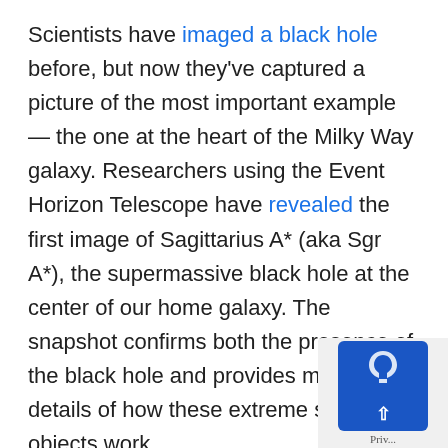Scientists have imaged a black hole before, but now they've captured a picture of the most important example — the one at the heart of the Milky Way galaxy. Researchers using the Event Horizon Telescope have revealed the first image of Sagittarius A* (aka Sgr A*), the supermassive black hole at the center of our home galaxy. The snapshot confirms both the presence of the black hole and provides more details of how these extreme space objects work.
Like the black hole spotted inside M87, Sgr A* is bending all the light around it — hence why it looks so similar. They're far from identical beyond this, however. The Milky Way's hole is...